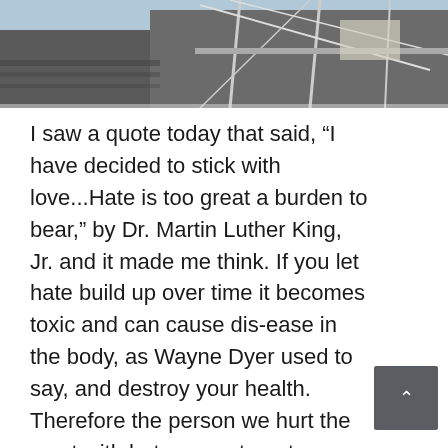[Figure (photo): Partial view of a building with scaffolding and grey roofing material visible from below, against a blue sky background.]
I saw a quote today that said, “I have decided to stick with love...Hate is too great a burden to bear,” by Dr. Martin Luther King, Jr. and it made me think. If you let hate build up over time it becomes toxic and can cause dis-ease in the body, as Wayne Dyer used to say, and destroy your health. Therefore the person we hurt the most with hate, resentment, grudges and dislike is ourselves. We are not always treated fairly or with respect, even by the ones we love but